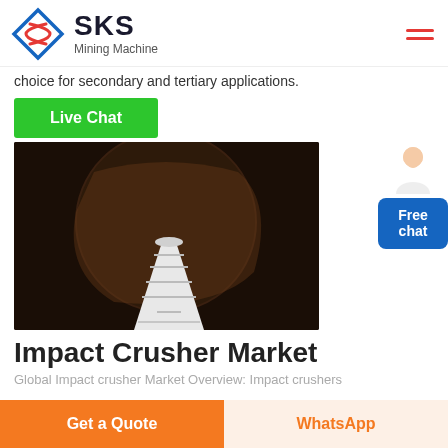SKS Mining Machine
choice for secondary and tertiary applications.
Live Chat
[Figure (photo): Close-up photo of an impact crusher interior showing a large rotating drum/rotor with a white conical shaft component in the foreground against a dark metallic background.]
Impact Crusher Market
Global Impact crusher Market Overview: Impact crushers
Get a Quote
WhatsApp